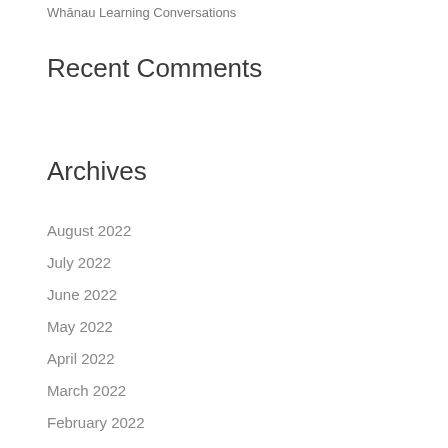Whānau Learning Conversations
Recent Comments
Archives
August 2022
July 2022
June 2022
May 2022
April 2022
March 2022
February 2022
January 2022
December 2021
November 2021